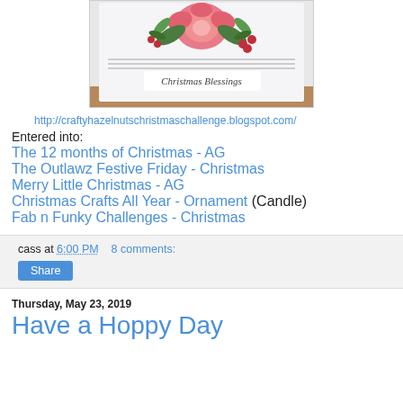[Figure (photo): A Christmas greeting card with a pink rose and holly decoration at the top and 'Christmas Blessings' text at the bottom, displayed on a wooden stand.]
http://craftyhazelnutschristmaschallenge.blogspot.com/
Entered into:
The 12 months of Christmas - AG
The Outlawz Festive Friday - Christmas
Merry Little Christmas - AG
Christmas Crafts All Year - Ornament (Candle)
Fab n Funky Challenges - Christmas
cass at 6:00 PM    8 comments:
Share
Thursday, May 23, 2019
Have a Hoppy Day